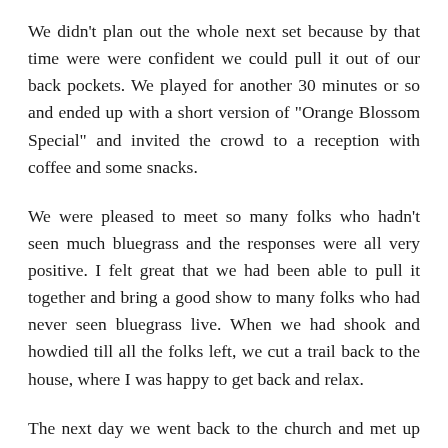We didn't plan out the whole next set because by that time were were confident we could pull it out of our back pockets. We played for another 30 minutes or so and ended up with a short version of "Orange Blossom Special" and invited the crowd to a reception with coffee and some snacks.
We were pleased to meet so many folks who hadn't seen much bluegrass and the responses were all very positive. I felt great that we had been able to pull it together and bring a good show to many folks who had never seen bluegrass live. When we had shook and howdied till all the folks left, we cut a trail back to the house, where I was happy to get back and relax.
The next day we went back to the church and met up with some of the folks in the choir who were having a picnic and we followed them out of town a little way to one of the congregation's lovely home and picked for about twenty